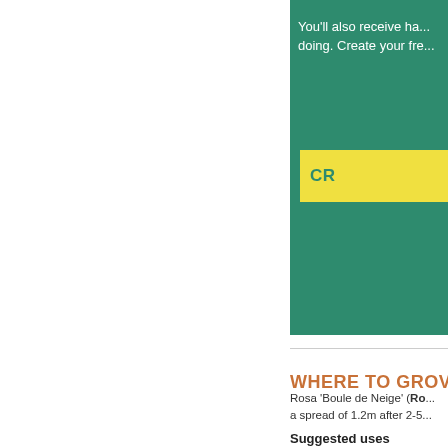You'll also receive ha... doing. Create your fre...
CR...
WHERE TO GROW
Rosa 'Boule de Neige' (Ro... a spread of 1.2m after 2-5...
Suggested uses
City, Cottage/Informal, Be...
Cultivation
Plant in full sun, but will to... where other roses have gr...
Soil type
Chalky, Clay, Loamy, San...
Soil drainage